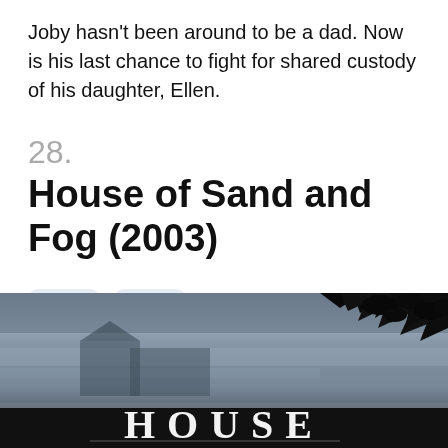Joby hasn't been around to be a dad. Now is his last chance to fight for shared custody of his daughter, Ellen.
28.
House of Sand and Fog (2003)
[Figure (screenshot): Two UI buttons with up and down chevron arrows on a light blue-grey background]
[Figure (photo): Movie poster for House of Sand and Fog (2003) showing a dark, foggy atmospheric scene with trees and the word HOUSE visible in large white letters at the bottom]